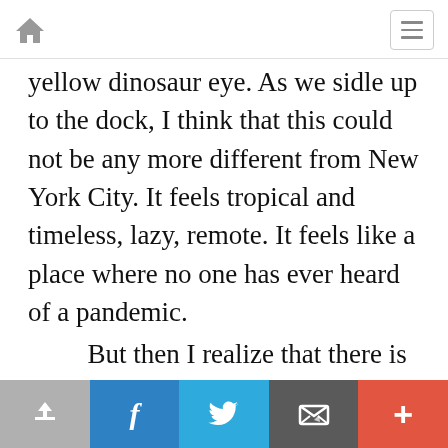Home | Menu
yellow dinosaur eye. As we sidle up to the dock, I think that this could not be any more different from New York City. It feels tropical and timeless, lazy, remote. It feels like a place where no one has ever heard of a pandemic.
    But then I realize that there is a hoard of people waiting to secure the services of the water taxi. They have the sunburned look of tourists who are already refitting themselves into the mindset of home, shoving and yelling over each other. One man holds out a
Share | Facebook | Twitter | Email | More